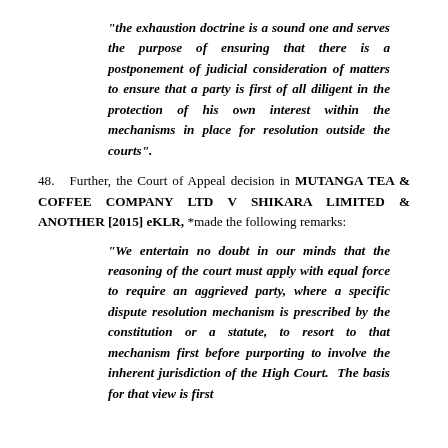“the exhaustion doctrine is a sound one and serves the purpose of ensuring that there is a postponement of judicial consideration of matters to ensure that a party is first of all diligent in the protection of his own interest within the mechanisms in place for resolution outside the courts”.
48. Further, the Court of Appeal decision in MUTANGA TEA & COFFEE COMPANY LTD V SHIKARA LIMITED & ANOTHER [2015] eKLR, *made the following remarks:
“We entertain no doubt in our minds that the reasoning of the court must apply with equal force to require an aggrieved party, where a specific dispute resolution mechanism is prescribed by the constitution or a statute, to resort to that mechanism first before purporting to involve the inherent jurisdiction of the High Court. The basis for that view is first